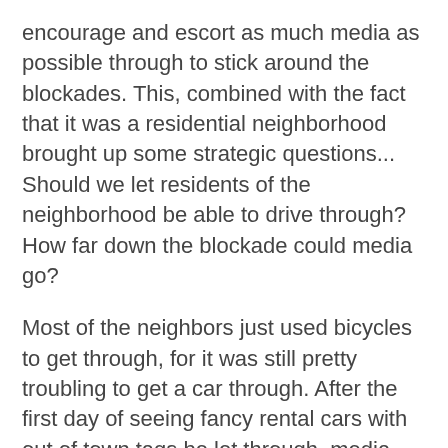encourage and escort as much media as possible through to stick around the blockades. This, combined with the fact that it was a residential neighborhood brought up some strategic questions... Should we let residents of the neighborhood be able to drive through? How far down the blockade could media go?
Most of the neighbors just used bicycles to get through, for it was still pretty troubling to get a car through. After the first day of seeing fancy rental cars with out of town tags be let through, media come through on motorcycles and bicycles, people started to question the effectiveness of the blockade. The conflict was between having an effective blockade and being kind and respectful to residents